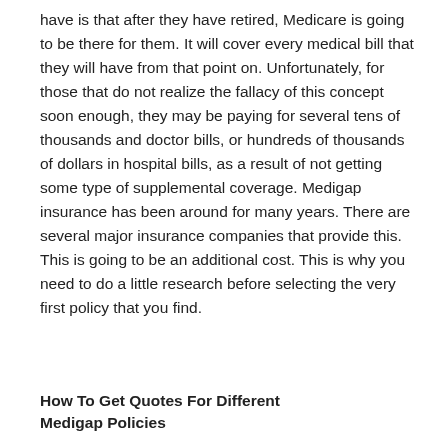have is that after they have retired, Medicare is going to be there for them. It will cover every medical bill that they will have from that point on. Unfortunately, for those that do not realize the fallacy of this concept soon enough, they may be paying for several tens of thousands and doctor bills, or hundreds of thousands of dollars in hospital bills, as a result of not getting some type of supplemental coverage. Medigap insurance has been around for many years. There are several major insurance companies that provide this. This is going to be an additional cost. This is why you need to do a little research before selecting the very first policy that you find.
How To Get Quotes For Different Medigap Policies